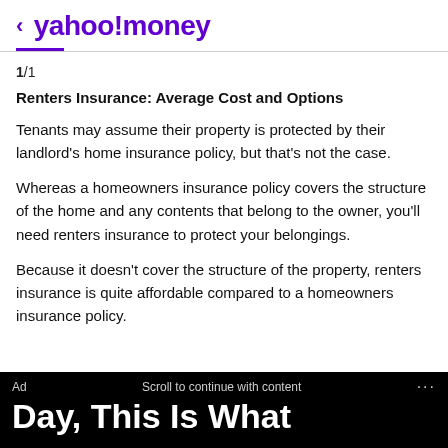< yahoo!money
1/1
Renters Insurance: Average Cost and Options
Tenants may assume their property is protected by their landlord's home insurance policy, but that's not the case.
Whereas a homeowners insurance policy covers the structure of the home and any contents that belong to the owner, you'll need renters insurance to protect your belongings.
Because it doesn't cover the structure of the property, renters insurance is quite affordable compared to a homeowners insurance policy.
Ad   Scroll to continue with content   ...   Day, This Is What